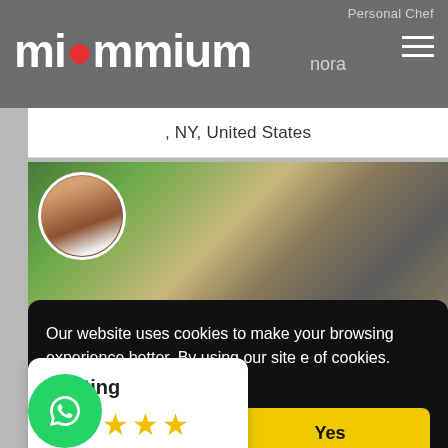Personal Chef
[Figure (logo): miommium logo with red dot over the 'o', white text on gray background]
nora
, NY, United States
[Figure (photo): Food photo showing a plate with greens, mushrooms, and mashed potatoes. Chef avatar circle in lower left showing a bald man in white chef coat.]
Personal Chef
Anderson S Delima
Our website uses cookies to make your browsing experience better. By using our site e of cookies.  Learn more
[Figure (other): Rating widget showing 5 gold stars and a red notification dot with 'Rating' label]
Yes
Personal Chef